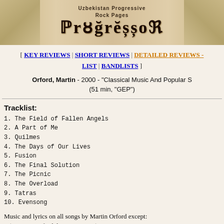[Figure (illustration): Uzbekistan Progressive Rock Pages - ProgressoR banner header with decorative sepia-toned illustration on sides and gothic/blackletter logo text]
[ KEY REVIEWS | SHORT REVIEWS | DETAILED REVIEWS - LIST | BANDLISTS ]
Orford, Martin - 2000 - "Classical Music And Popular S (51 min, "GEP")
Tracklist:
1.  The Field of Fallen Angels
2.  A Part of Me
3.  Quilmes
4.  The Days of Our Lives
5.  Fusion
6.  The Final Solution
7.  The Picnic
8.  The Overload
9.  Tatras
10. Evensong
Music and lyrics on all songs by Martin Orford except:
4 (music M.Orford, lyrics J.Wetton)